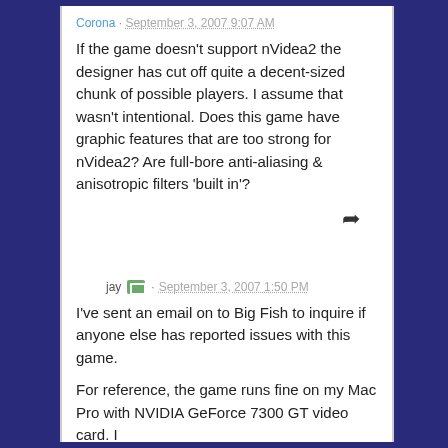Corona · September 3, 2007 9:07 AM
If the game doesn't support nVidea2 the designer has cut off quite a decent-sized chunk of possible players. I assume that wasn't intentional. Does this game have graphic features that are too strong for nVidea2? Are full-bore anti-aliasing & anisotropic filters 'built in'?
jay · September 3, 2007 1:50 PM
I've sent an email on to Big Fish to inquire if anyone else has reported issues with this game.
For reference, the game runs fine on my Mac Pro with NVIDIA GeForce 7300 GT video card. I